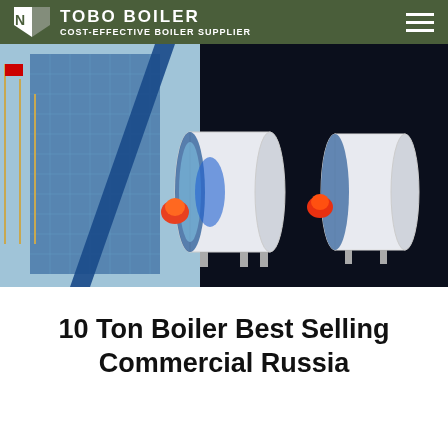COST-EFFECTIVE BOILER SUPPLIER
[Figure (screenshot): Hero banner showing steam boilers with building background. Text overlay: STEAM BOILER, Gas(Oil) Fired Integrated Steam Boiler, Rated thermal power: 0.5-20t/h, Rated thermal efficiency: > 100-104%]
10 Ton Boiler Best Selling Commercial Russia